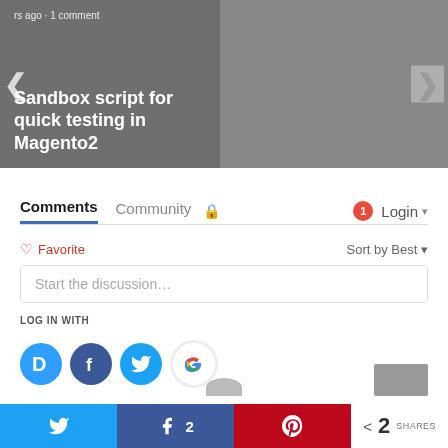[Figure (screenshot): Two blog post slideshow cards: left card shows 'Sandbox script for quick testing in Magento2' on dark gray background; right card shows 'Install & Configure Varnish ...' on dark blue background with gear/Magento icon. Navigation arrows visible on sides.]
Comments
Community  🔒   1  Login ▾
♡ Favorite   Sort by Best ▾
Start the discussion…
LOG IN WITH
[Figure (infographic): Social login buttons: Disqus (D), Facebook (f), Twitter bird, Google (G)]
< 2 SHARES
[Figure (infographic): Bottom share bar with Twitter, Facebook (2 shares), Pinterest buttons and total share count of 2]